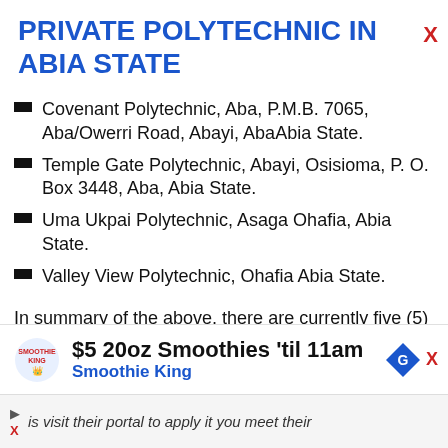PRIVATE POLYTECHNIC IN ABIA STATE
Covenant Polytechnic, Aba, P.M.B. 7065, Aba/Owerri Road, Abayi, AbaAbia State.
Temple Gate Polytechnic, Abayi, Osisioma, P. O. Box 3448, Aba, Abia State.
Uma Ukpai Polytechnic, Asaga Ohafia, Abia State.
Valley View Polytechnic, Ohafia Abia State.
In summary of the above, there are currently five (5) Polytechnics in Abia State made up of state
[Figure (infographic): Advertisement banner for Smoothie King: '$5 20oz Smoothies \u2019til 11am' with Smoothie King logo and close button]
is visit their portal to apply it you meet their